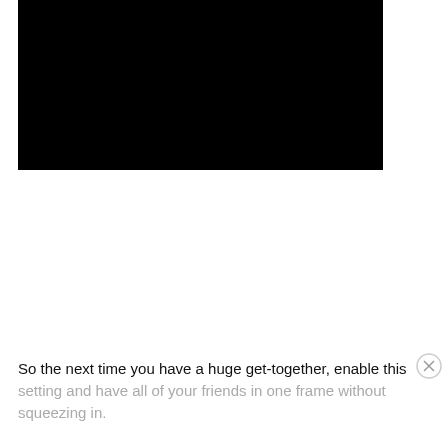[Figure (photo): A large black rectangle representing a redacted or blacked-out image at the top of the page.]
So the next time you have a huge get-together, enable this setting and have all of your friends in one frame without squeezing in.